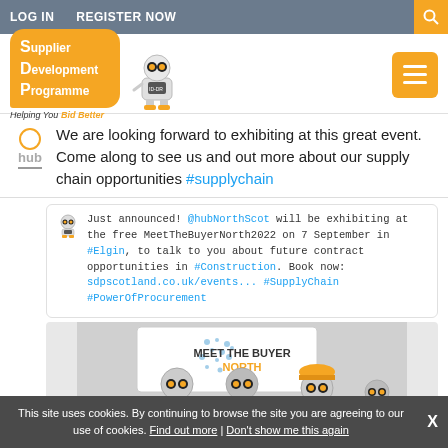LOG IN   REGISTER NOW
[Figure (logo): Supplier Development Programme logo with robot mascot and tagline 'Helping You Bid Better']
We are looking forward to exhibiting at this great event. Come along to see us and out more about our supply chain opportunities #supplychain
Just announced! @hubNorthScot will be exhibiting at the free MeetTheBuyerNorth2022 on 7 September in #Elgin, to talk to you about future contract opportunities in #Construction. Book now: sdpscotland.co.uk/events... #SupplyChain #PowerOfProcurement
[Figure (photo): Meet The Buyer North event image with robot mascots]
This site uses cookies. By continuing to browse the site you are agreeing to our use of cookies. Find out more | Don't show me this again  X